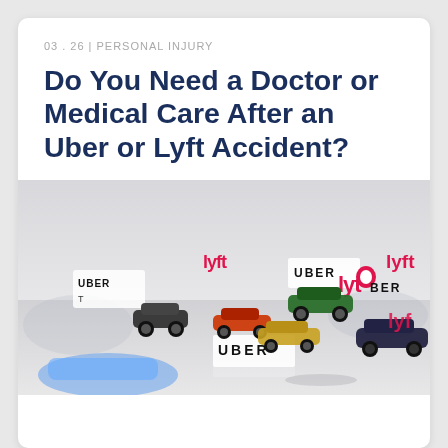03 . 26 | PERSONAL INJURY
Do You Need a Doctor or Medical Care After an Uber or Lyft Accident?
[Figure (photo): Photo of miniature toy cars scattered among small Uber and Lyft branded signs/logos on a reflective surface, depicting a rideshare accident scene]